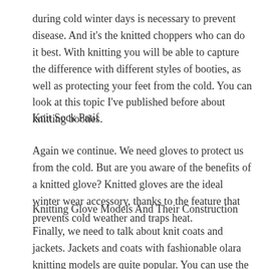during cold winter days is necessary to prevent disease. And it's the knitted choppers who can do it best. With knitting you will be able to capture the difference with different styles of booties, as well as protecting your feet from the cold. You can look at this topic I've published before about knitting booties.
Knit Sock Patif
Again we continue. We need gloves to protect us from the cold. But are you aware of the benefits of a knitted glove? Knitted gloves are the ideal winter wear accessory, thanks to the feature that prevents cold weather and traps heat.
Knitting Glove Models And Their Construction
Finally, we need to talk about knit coats and jackets. Jackets and coats with fashionable olara knitting models are quite popular. You can use the same model knit coat this winter.
knitting baby coat making
It is possible to sign multi-headlight designs in home decoration. You